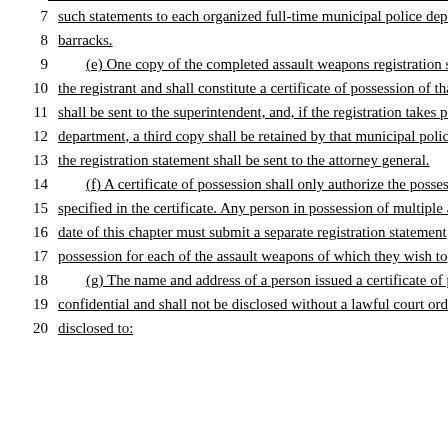7    such statements to each organized full-time municipal police depa...
8    barracks.
9    (e) One copy of the completed assault weapons registration sta...
10   the registrant and shall constitute a certificate of possession of tha...
11   shall be sent to the superintendent, and, if the registration takes pl...
12   department, a third copy shall be retained by that municipal police...
13   the registration statement shall be sent to the attorney general.
14   (f) A certificate of possession shall only authorize the possessi...
15   specified in the certificate. Any person in possession of multiple a...
16   date of this chapter must submit a separate registration statement...
17   possession for each of the assault weapons of which they wish to...
18   (g) The name and address of a person issued a certificate of po...
19   confidential and shall not be disclosed without a lawful court orde...
20   disclosed to: